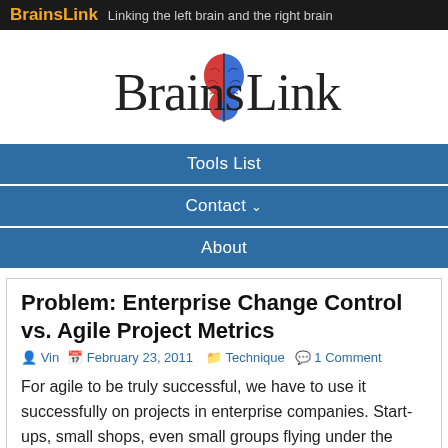BrainsLink Linking the left brain and the right brain
[Figure (logo): BrainsLink logo with a brain icon split red and blue between the words 'Brains' and 'Link' in serif font]
Tools List
Contact
About
Problem: Enterprise Change Control vs. Agile Project Metrics
Vin  February 23, 2011  Technique  1 Comment
For agile to be truly successful, we have to use it successfully on projects in enterprise companies. Start-ups, small shops, even small groups flying under the radar at big firms are all great but they can't be characterized as enterprise adoption. So what will it take?